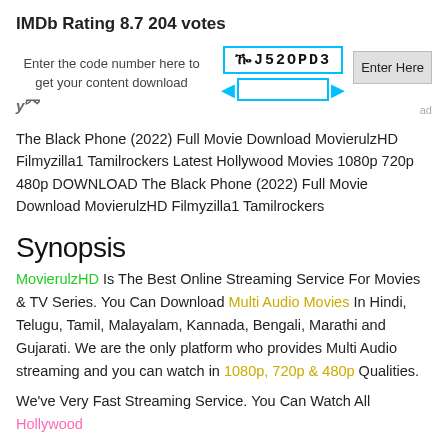IMDb Rating 8.7 204 votes
[Figure (other): CAPTCHA ad block with code RJ52OPD3, an input field, Enter Here button, yx logo, and ad label]
The Black Phone (2022) Full Movie Download MovierulzHD Filmyzilla1 Tamilrockers Latest Hollywood Movies 1080p 720p 480p DOWNLOAD The Black Phone (2022) Full Movie Download MovierulzHD Filmyzilla1 Tamilrockers
Synopsis
MovierulzHD Is The Best Online Streaming Service For Movies & TV Series. You Can Download Multi Audio Movies In Hindi, Telugu, Tamil, Malayalam, Kannada, Bengali, Marathi and Gujarati. We are the only platform who provides Multi Audio streaming and you can watch in 1080p, 720p & 480p Qualities.
We've Very Fast Streaming Service. You Can Watch All Hollywood